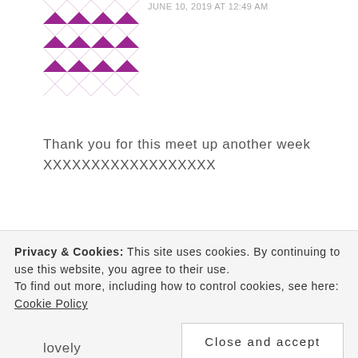[Figure (illustration): Purple geometric patterned avatar image with diamond/star shapes]
JUNE 10, 2019 AT 12:49 AM
Thank you for this meet up another week
XXXXXXXXXXXXXXXXXX
Reply
[Figure (photo): Partial photo of person or nature scene]
IT WISDOM says
Privacy & Cookies: This site uses cookies. By continuing to use this website, you agree to their use.
To find out more, including how to control cookies, see here:
Cookie Policy
Close and accept
lovely